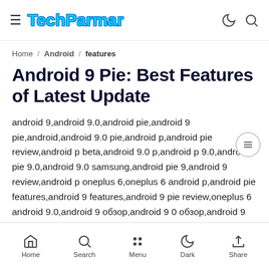TechParmar
Home / Android / features
Android 9 Pie: Best Features of Latest Update
android 9,android 9.0,android pie,android 9 pie,android,android 9.0 pie,android p,android pie review,android p beta,android 9.0 p,android p 9.0,android pie 9.0,android 9.0 samsung,android pie 9,android 9 review,android p oneplus 6,oneplus 6 android p,android pie features,android 9 features,android 9 pie review,oneplus 6 android 9.0,android 9 обзор,android 9 0 обзор,android 9 pie features,android p,android,android p beta,android p review,android 9,android p features,android 9.0,android 9.0 p,android pie,android p gestures,android p oneplus 6,android p download,android p developer
Home Search Menu Dark Share